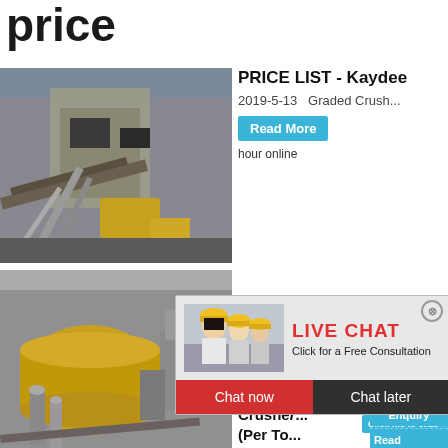price
[Figure (photo): Industrial crusher plant with conveyor belts and rock face]
PRICE LIST - Kaydee
2019-5-13   Graded Crush...
Read More
hour online
[Figure (photo): Live chat popup with workers in yellow hard hats]
LIVE CHAT
Click for a Free Consultation
Chat now
Chat later
[Figure (photo): Industrial mill/grinding plant with yellow machinery]
Crushe... (Per To...
Gravel Pr...
Click me to chat>>
Enquiry
Read
limingjlmofen
[Figure (photo): Cone crusher machine white and red industrial equipment]